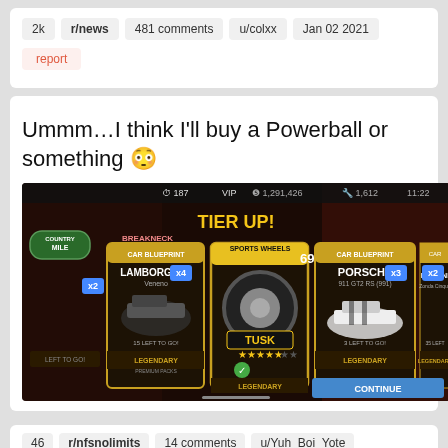2k | r/news | 481 comments | u/colxx | Jan 02 2021
report
Ummm…I think I'll buy a Powerball or something 😳
[Figure (screenshot): Mobile game screenshot showing 'TIER UP!' screen with legendary rewards: Lamborghini Veneno (x4, 15 left to go), Sports Wheels TUSK 692 (legendary, 5 stars), Porsche 911 GT2 RS 991 (x3, 3 left to go), Pagani Zonda Cinque (x2, 35 left to go). Country Mile / Breakneck Division event. Continue button shown.]
46 | r/nfsnolimits | 14 comments | u/Yuh_Boi_Yote